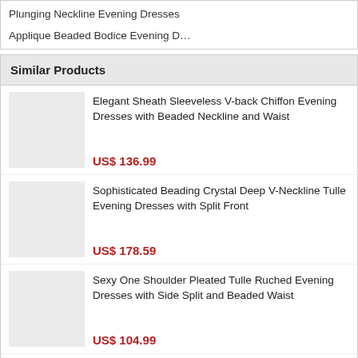Plunging Neckline Evening Dresses
Applique Beaded Bodice Evening D…
Similar Products
Elegant Sheath Sleeveless V-back Chiffon Evening Dresses with Beaded Neckline and Waist
US$ 136.99
Sophisticated Beading Crystal Deep V-Neckline Tulle Evening Dresses with Split Front
US$ 178.59
Sexy One Shoulder Pleated Tulle Ruched Evening Dresses with Side Split and Beaded Waist
US$ 104.99
Simple Strapless Sleeveless Court Train Pleated Chiffon Evening Party Dresses
US$ 128.99
Sophisticated Appliques Strapless Satin Evening Dresses